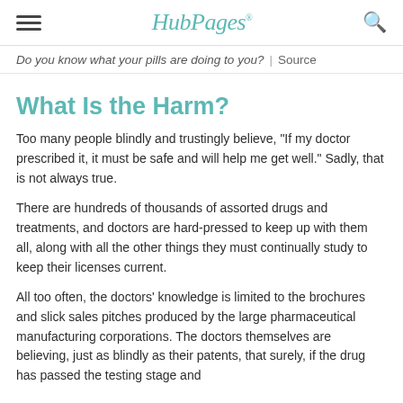HubPages
Do you know what your pills are doing to you? | Source
What Is the Harm?
Too many people blindly and trustingly believe, "If my doctor prescribed it, it must be safe and will help me get well." Sadly, that is not always true.
There are hundreds of thousands of assorted drugs and treatments, and doctors are hard-pressed to keep up with them all, along with all the other things they must continually study to keep their licenses current.
All too often, the doctors' knowledge is limited to the brochures and slick sales pitches produced by the large pharmaceutical manufacturing corporations. The doctors themselves are believing, just as blindly as their patents, that surely, if the drug has passed the testing stage and